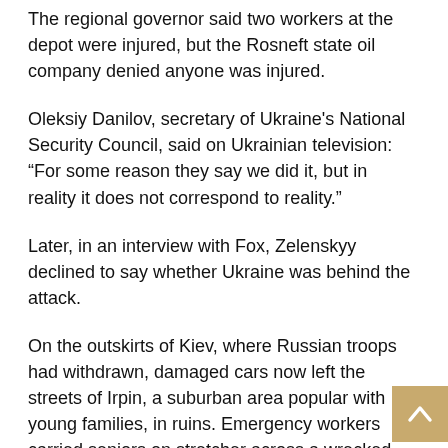The regional governor said two workers at the depot were injured, but the Rosneft state oil company denied anyone was injured.
Oleksiy Danilov, secretary of Ukraine's National Security Council, said on Ukrainian television: “For some reason they say we did it, but in reality it does not correspond to reality.”
Later, in an interview with Fox, Zelenskyy declined to say whether Ukraine was behind the attack.
On the outskirts of Kiev, where Russian troops had withdrawn, damaged cars now left the streets of Irpin, a suburban area popular with young families, in ruins. Emergency workers carried seniors on stretcher across a wrecked bridge to safety.
Three wooden crosses next to a residential building damaged in a shelter marked the graves of a mother and son and an